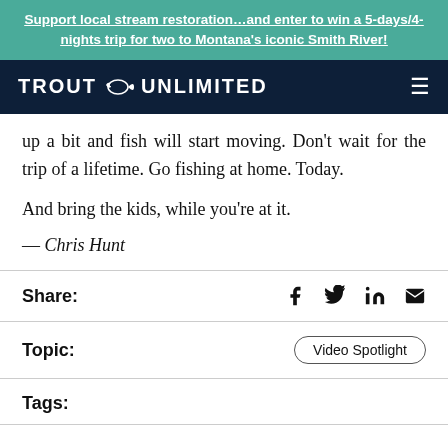Support local stream restoration...and enter to win a 5-days/4-nights trip for two to Montana's iconic Smith River!
[Figure (logo): Trout Unlimited logo with fish icon on dark navy background, hamburger menu icon on right]
up a bit and fish will start moving. Don't wait for the trip of a lifetime. Go fishing at home. Today.

And bring the kids, while you're at it.
— Chris Hunt
Share:
Topic:   Video Spotlight
Tags: